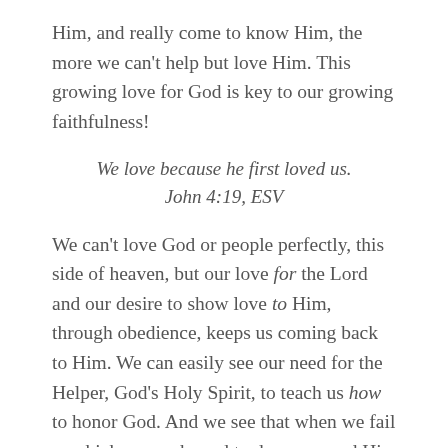Him, and really come to know Him, the more we can't help but love Him. This growing love for God is key to our growing faithfulness!
We love because he first loved us. John 4:19, ESV
We can't love God or people perfectly, this side of heaven, but our love for the Lord and our desire to show love to Him, through obedience, keeps us coming back to Him. We can easily see our need for the Helper, God's Holy Spirit, to teach us how to honor God. And we see that when we fail —which we are bound to do—we need His